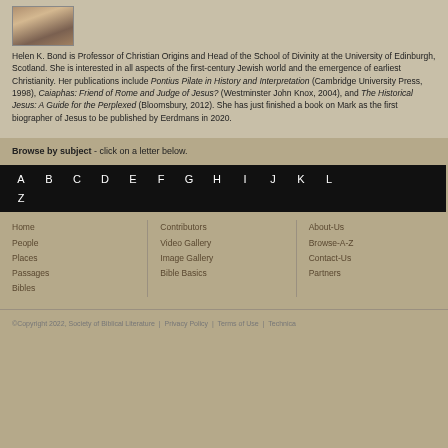[Figure (photo): Small headshot photo of Helen K. Bond]
Helen K. Bond is Professor of Christian Origins and Head of the School of Divinity at the University of Edinburgh, Scotland. She is interested in all aspects of the first-century Jewish world and the emergence of earliest Christianity. Her publications include Pontius Pilate in History and Interpretation (Cambridge University Press, 1998), Caiaphas: Friend of Rome and Judge of Jesus? (Westminster John Knox, 2004), and The Historical Jesus: A Guide for the Perplexed (Bloomsbury, 2012). She has just finished a book on Mark as the first biographer of Jesus to be published by Eerdmans in 2020.
Browse by subject - click on a letter below.
A B C D E F G H I J K L Z
Home
People
Places
Passages
Bibles
Contributors
Video Gallery
Image Gallery
Bible Basics
About-Us
Browse-A-Z
Contact-Us
Partners
©Copyright 2022, Society of Biblical Literature | Privacy Policy | Terms of Use | Technica